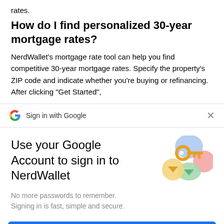rates.
How do I find personalized 30-year mortgage rates?
NerdWallet’s mortgage rate tool can help you find competitive 30-year mortgage rates. Specify the property’s ZIP code and indicate whether you’re buying or refinancing. After clicking “Get Started”,
[Figure (logo): Google G logo with Sign in with Google text and X close button]
Use your Google Account to sign in to NerdWallet
No more passwords to remember.
Signing in is fast, simple and secure.
[Figure (illustration): Colorful key illustration with circular shapes in blue, green, yellow and pink]
Continue